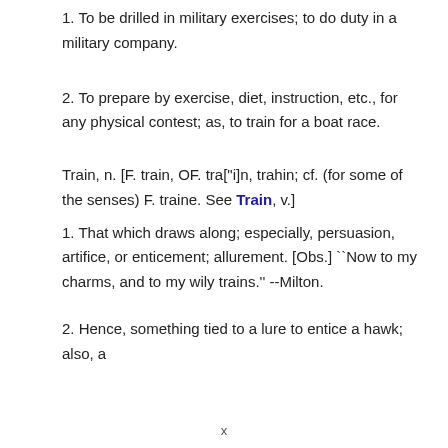1. To be drilled in military exercises; to do duty in a military company.
2. To prepare by exercise, diet, instruction, etc., for any physical contest; as, to train for a boat race.
Train, n. [F. train, OF. tra["i]n, trahin; cf. (for some of the senses) F. traine. See Train, v.]
1. That which draws along; especially, persuasion, artifice, or enticement; allurement. [Obs.] ``Now to my charms, and to my wily trains.'' --Milton.
2. Hence, something tied to a lure to entice a hawk; also, a
x